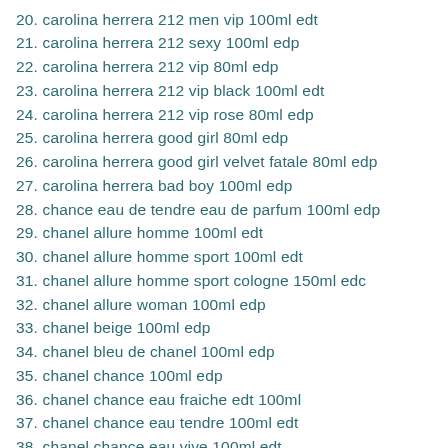20. carolina herrera 212 men vip 100ml edt
21. carolina herrera 212 sexy 100ml edp
22. carolina herrera 212 vip 80ml edp
23. carolina herrera 212 vip black 100ml edt
24. carolina herrera 212 vip rose 80ml edp
25. carolina herrera good girl 80ml edp
26. carolina herrera good girl velvet fatale 80ml edp
27. carolina herrera bad boy 100ml edp
28. chance eau de tendre eau de parfum 100ml edp
29. chanel allure homme 100ml edt
30. chanel allure homme sport 100ml edt
31. chanel allure homme sport cologne 150ml edc
32. chanel allure woman 100ml edp
33. chanel beige 100ml edp
34. chanel bleu de chanel 100ml edp
35. chanel chance 100ml edp
36. chanel chance eau fraiche edt 100ml
37. chanel chance eau tendre 100ml edt
38. chanel chance eau vive 100ml edt